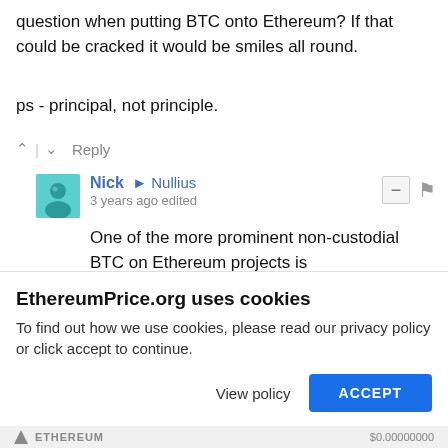question when putting BTC onto Ethereum? If that could be cracked it would be smiles all round.
ps - principal, not principle.
^ | v  Reply
Nick → Nullius
3 years ago edited

One of the more prominent non-custodial BTC on Ethereum projects is https://tbtc.network/

It requires ETH to be used as collateral, which largely defeats the point but it's a start.

ps - thanks for spotting that ;-)
^ | v  Reply
EthereumPrice.org uses cookies
To find out how we use cookies, please read our privacy policy or click accept to continue.
View policy  ACCEPT
ETHEREUM  $0.00000000